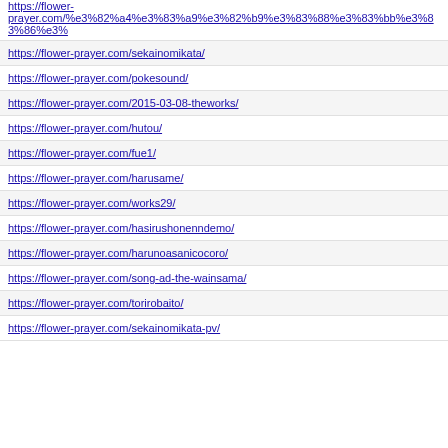https://flower-prayer.com/%e3%82%a4%e3%83%a9%e3%82%b9%e3%83%88%e3%83%bb%e3%83%86%e3%...
https://flower-prayer.com/sekainomikata/
https://flower-prayer.com/pokesound/
https://flower-prayer.com/2015-03-08-theworks/
https://flower-prayer.com/hutou/
https://flower-prayer.com/fue1/
https://flower-prayer.com/harusame/
https://flower-prayer.com/works29/
https://flower-prayer.com/hasirushonenndemo/
https://flower-prayer.com/harunoasanicocoro/
https://flower-prayer.com/song-ad-the-wainsama/
https://flower-prayer.com/torirobaito/
https://flower-prayer.com/sekainomikata-pv/